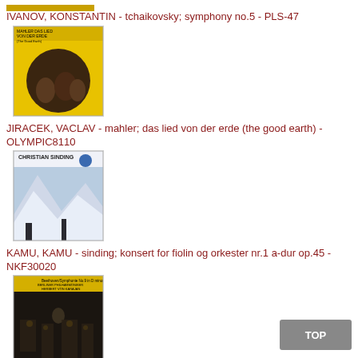[Figure (photo): Album cover partially visible at top of page (bottom portion only)]
IVANOV, KONSTANTIN - tchaikovsky; symphony no.5 - PLS-47
[Figure (photo): Yellow album cover for Mahler Das Lied von der Erde (The Good Earth) with a circular dark image of figures]
JIRACEK, VACLAV - mahler; das lied von der erde (the good earth) - OLYMPIC8110
[Figure (photo): Album cover for Christian Sinding showing a snowy mountainous landscape]
KAMU, KAMU - sinding; konsert for fiolin og orkester nr.1 a-dur op.45 - NKF30020
[Figure (photo): Yellow Deutsche Grammophon album cover showing Beethoven Symphony No.9 in D minor, Berliner Philharmoniker, Herbert von Karajan, with musicians performing]